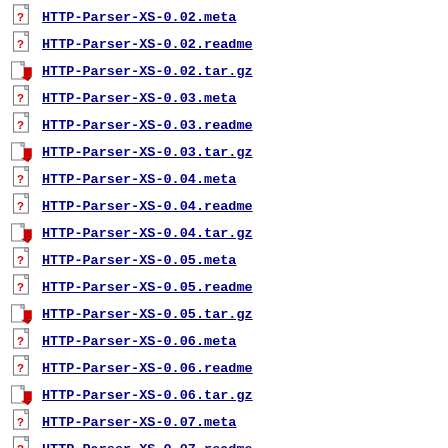HTTP-Parser-XS-0.02.meta
HTTP-Parser-XS-0.02.readme
HTTP-Parser-XS-0.02.tar.gz
HTTP-Parser-XS-0.03.meta
HTTP-Parser-XS-0.03.readme
HTTP-Parser-XS-0.03.tar.gz
HTTP-Parser-XS-0.04.meta
HTTP-Parser-XS-0.04.readme
HTTP-Parser-XS-0.04.tar.gz
HTTP-Parser-XS-0.05.meta
HTTP-Parser-XS-0.05.readme
HTTP-Parser-XS-0.05.tar.gz
HTTP-Parser-XS-0.06.meta
HTTP-Parser-XS-0.06.readme
HTTP-Parser-XS-0.06.tar.gz
HTTP-Parser-XS-0.07.meta
HTTP-Parser-XS-0.07.readme